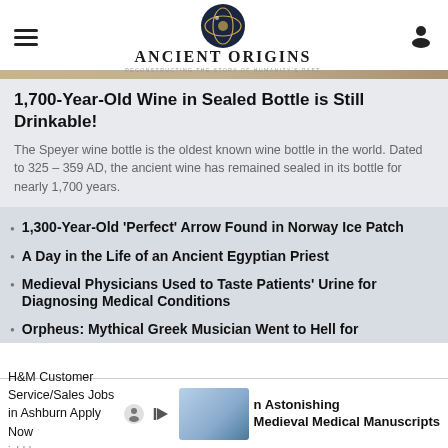Ancient Origins — Reconstructing the story of humanity's past
1,700-Year-Old Wine in Sealed Bottle is Still Drinkable!
The Speyer wine bottle is the oldest known wine bottle in the world. Dated to 325 – 359 AD, the ancient wine has remained sealed in its bottle for nearly 1,700 years.
1,300-Year-Old 'Perfect' Arrow Found in Norway Ice Patch
A Day in the Life of an Ancient Egyptian Priest
Medieval Physicians Used to Taste Patients' Urine for Diagnosing Medical Conditions
Orpheus: Mythical Greek Musician Went to Hell for
Medieval Medical Manuscripts
H&M Customer Service/Sales Jobs in Ashburn Apply Now jobble.com